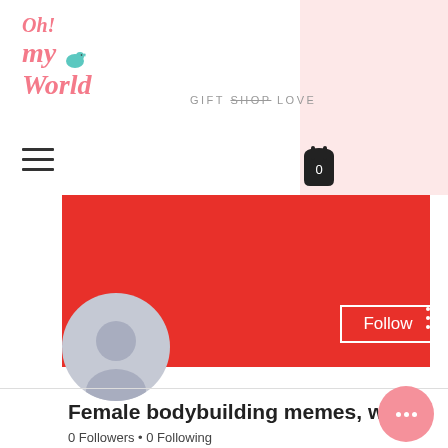[Figure (logo): Oh! My World gift shop logo in pink italic text with a teal bird illustration, tagline reading GIFT SHOP LOVE]
[Figure (other): Hamburger menu icon (three horizontal lines)]
[Figure (other): Shopping cart icon with 0 badge]
[Figure (other): Red banner with default profile avatar (grey silhouette), a Follow button, and three vertical dots menu]
Female bodybuilding memes, what...
0 Followers • 0 Following
[Figure (other): Pink circle button with three dots (chat/more options)]